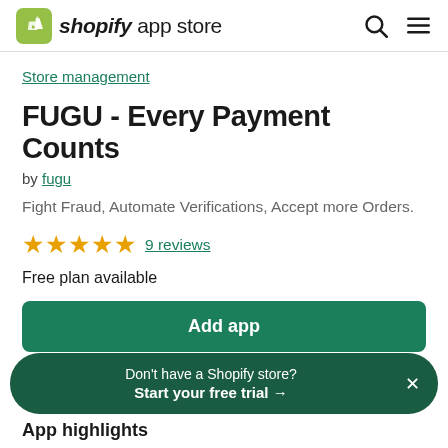shopify app store
Store management
FUGU - Every Payment Counts
by fugu
Fight Fraud, Automate Verifications, Accept more Orders.
★★★★★ 9 reviews
Free plan available
Add app
Don't have a Shopify store? Start your free trial →
App highlights